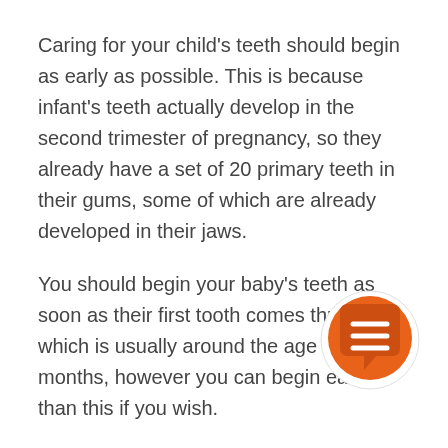Caring for your child's teeth should begin as early as possible. This is because infant's teeth actually develop in the second trimester of pregnancy, so they already have a set of 20 primary teeth in their gums, some of which are already developed in their jaws.
You should begin your baby's teeth as soon as their first tooth comes through, which is usually around the age of 6 months, however you can begin earlier than this if you wish.
How can we look after them?
Introducing your kids to a well maintained oral
[Figure (illustration): Orange circular chat bubble icon with three horizontal lines representing text, positioned in the lower right of the page.]